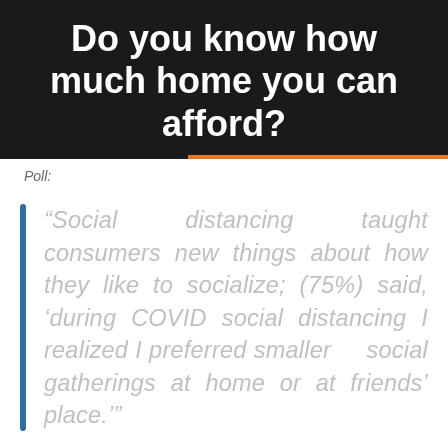Do you know how much home you can afford?
Poll:
“Social distancing taught consumers new things about how they like to socialize; (75%) said, ‘during COVID social distancing I realized I preferred smaller social gatherings at home or at friends’ place.’”